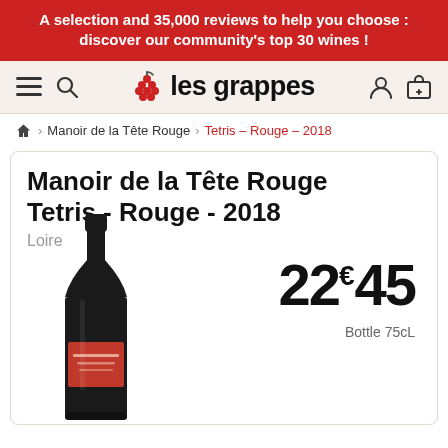A selection and 35,000 reviews to help you choose : discover our community's top 30 wines !
[Figure (logo): les grappes wine website logo with grape icon]
🏠 > Manoir de la Tête Rouge > Tetris – Rouge – 2018
Manoir de la Tête Rouge Tetris - Rouge - 2018
Loire
22€45
Bottle 75cL
[Figure (photo): Dark wine bottle with red label for Manoir de la Tête Rouge Tetris Rouge 2018]